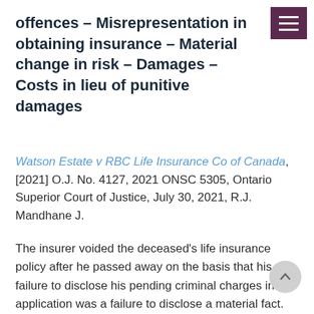[Figure (other): Hamburger menu button with three white horizontal lines on a dark purple/maroon background]
offences – Misrepresentation in obtaining insurance – Material change in risk – Damages – Costs in lieu of punitive damages
Watson Estate v RBC Life Insurance Co of Canada, [2021] O.J. No. 4127, 2021 ONSC 5305, Ontario Superior Court of Justice, July 30, 2021, R.J. Mandhane J.
The insurer voided the deceased's life insurance policy after he passed away on the basis that his failure to disclose his pending criminal charges in his application was a failure to disclose a material fact. Materiality is a question of fact that is assessed from the perspective of the insurer. The onus is on the insurer to establish that the omitted fact was material